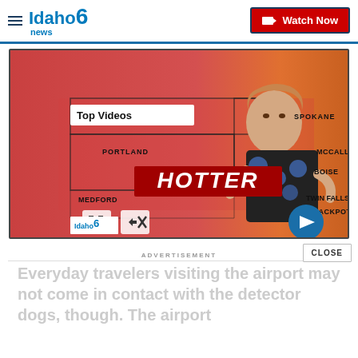[Figure (screenshot): Idaho News 6 website header with logo and Watch Now button]
[Figure (screenshot): Idaho News 6 weather broadcast video showing a weather map with HOTTER label over the Pacific Northwest region, featuring a female meteorologist. Top Videos label visible. Playback controls at bottom.]
ADVERTISEMENT
Everyday travelers visiting the airport may not come in contact with the detector dogs, though. The airport